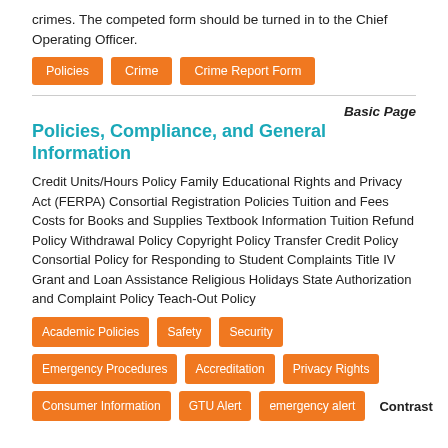crimes. The competed form should be turned in to the Chief Operating Officer.
Policies
Crime
Crime Report Form
Basic Page
Policies, Compliance, and General Information
Credit Units/Hours Policy Family Educational Rights and Privacy Act (FERPA) Consortial Registration Policies Tuition and Fees Costs for Books and Supplies Textbook Information Tuition Refund Policy Withdrawal Policy Copyright Policy Transfer Credit Policy Consortial Policy for Responding to Student Complaints Title IV Grant and Loan Assistance Religious Holidays State Authorization and Complaint Policy Teach-Out Policy
Academic Policies
Safety
Security
Emergency Procedures
Accreditation
Privacy Rights
Consumer Information
GTU Alert
emergency alert
Contrast